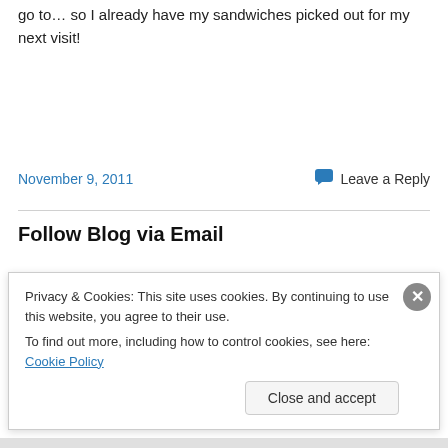go to… so I already have my sandwiches picked out for my next visit!
November 9, 2011
Leave a Reply
Follow Blog via Email
Privacy & Cookies: This site uses cookies. By continuing to use this website, you agree to their use.
To find out more, including how to control cookies, see here: Cookie Policy
Close and accept